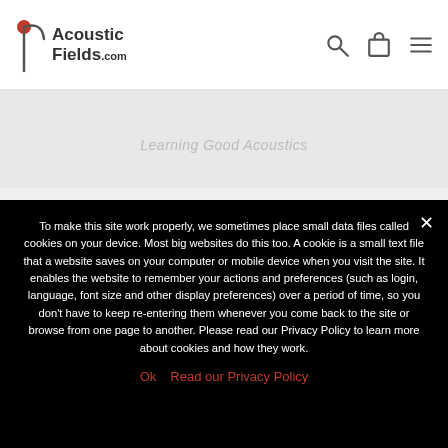[Figure (logo): Acoustic Fields .com logo with red dot and swoosh icon, black text, navigation icons (search, bag, hamburger menu) on right]
[Figure (photo): Partially visible background hero image with ghost italic text overlay]
Acoustic Guitar Mic Placement & Room Acoustics
To make this site work properly, we sometimes place small data files called cookies on your device. Most big websites do this too. A cookie is a small text file that a website saves on your computer or mobile device when you visit the site. It enables the website to remember your actions and preferences (such as login, language, font size and other display preferences) over a period of time, so you don't have to keep re-entering them whenever you come back to the site or browse from one page to another. Please read our Privacy Policy to learn more about cookies and how they work.
Ok   Read our Privacy Policy